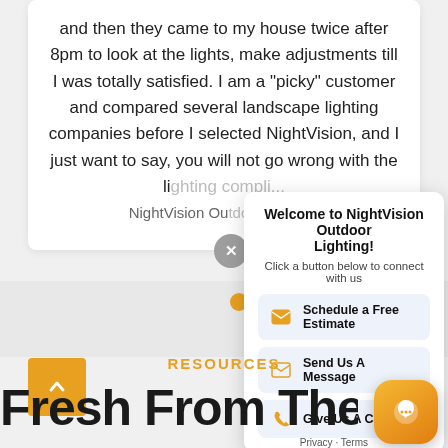and then they came to my house twice after 8pm to look at the lights, make adjustments till I was totally satisfied. I am a "picky" customer and compared several landscape lighting companies before I selected NightVision, and I just want to say, you will not go wrong with the li... NightVision Ou...
[Figure (screenshot): Chat popup widget: 'Welcome to NightVision Outdoor Lighting! Click a button below to connect with us' with three buttons: Schedule a Free Estimate, Send Us A Message, Give Us A Call]
RESOURCES
Fresh From The